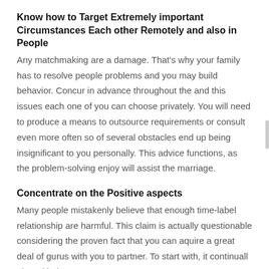Know how to Target Extremely important Circumstances Each other Remotely and also in People
Any matchmaking are a damage. That's why your family has to resolve people problems and you may build behavior. Concur in advance throughout the and this issues each one of you can choose privately. You will need to produce a means to outsource requirements or consult even more often so of several obstacles end up being insignificant to you personally. This advice functions, as the problem-solving enjoy will assist the marriage.
Concentrate on the Positive aspects
Many people mistakenly believe that enough time-label relationship are harmful. This claim is actually questionable considering the proven fact that you can aquire a great deal of gurus with you to partner. To start with, it continuall also with the